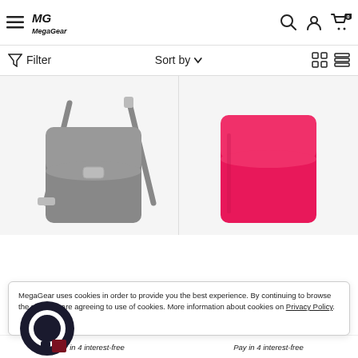MegaGear navigation bar with menu, logo, search, account, and cart icons
Filter | Sort by | Grid/List view controls
[Figure (photo): Grey leather crossbody camera bag with shoulder strap]
[Figure (photo): Hot pink/fuchsia leather camera case with flap closure]
MegaGear uses cookies in order to provide you the best experience. By continuing to browse the site, you are agreeing to use of cookies. More information about cookies on Privacy Policy.
Pay in 4 interest-free
Pay in 4 interest-free